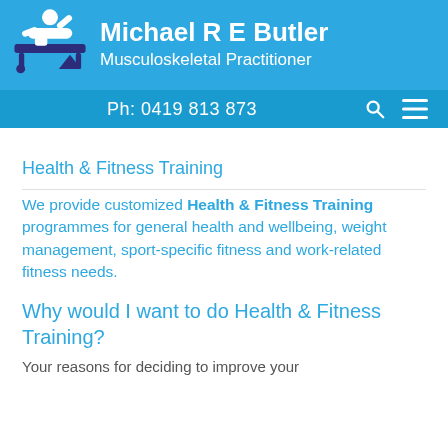Michael R E Butler
Musculoskeletal Practitioner
Ph: 0419 813 873
Health & Fitness Training
We provide customized Health & Fitness Training programmes for general health and wellbeing, weight management, sport-specific fitness and work-related fitness needs.
Why would I want to do Health & Fitness Training?
Your reasons for deciding to improve your